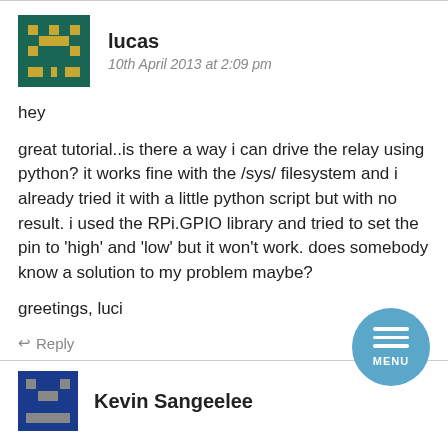[Figure (illustration): Pixel art avatar for user lucas — teal background with yellow/gold pixel character]
lucas
10th April 2013 at 2:09 pm
hey
great tutorial..is there a way i can drive the relay using python? it works fine with the /sys/ filesystem and i already tried it with a little python script but with no result. i used the RPi.GPIO library and tried to set the pin to ‘high’ and ‘low’ but it won’t work. does somebody know a solution to my problem maybe?
greetings, luci
↩ Reply
[Figure (illustration): Round blue menu button with three white horizontal lines and MENU label]
[Figure (illustration): Pixel art avatar for user Kevin Sangeelee — blue/dark background pixel character]
Kevin Sangeelee